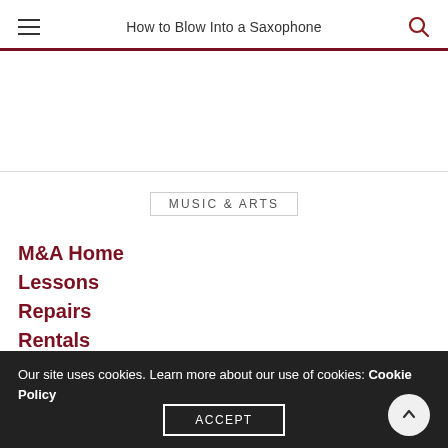How to Blow Into a Saxophone
M&A Home
Lessons
Repairs
Rentals
Our site uses cookies. Learn more about our use of cookies: Cookie Policy
ACCEPT